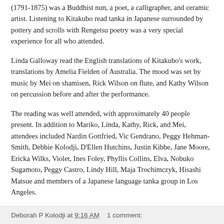(1791-1875) was a Buddhist nun, a poet, a calligrapher, and ceramic artist. Listening to Kitakubo read tanka in Japanese surrounded by pottery and scrolls with Rengetsu poetry was a very special experience for all who attended.
Linda Galloway read the English translations of Kitakubo's work, translations by Amelia Fielden of Australia. The mood was set by music by Mei on shamisen, Rick Wilson on flute, and Kathy Wilson on percussion before and after the performance.
The reading was well attended, with approximately 40 people present. In addition to Mariko, Linda, Kathy, Rick, and Mei, attendees included Nardin Gottfried, Vic Gendrano, Peggy Hehman-Smith, Debbie Kolodji, D'Ellen Hutchins, Justin Kibbe, Jane Moore, Ericka Wilks, Violet, Ines Foley, Phyllis Collins, Elva, Nobuko Sugamoto, Peggy Castro, Lindy Hill, Maja Trochimczyk, Hisashi Matsue and members of a Japanese language tanka group in Los Angeles.
Deborah P Kolodji at 9:16 AM    1 comment: